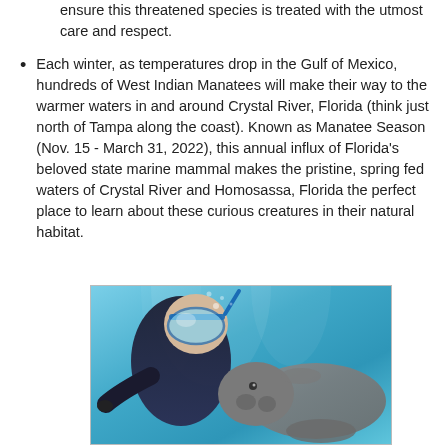ensure this threatened species is treated with the utmost care and respect.
Each winter, as temperatures drop in the Gulf of Mexico, hundreds of West Indian Manatees will make their way to the warmer waters in and around Crystal River, Florida (think just north of Tampa along the coast). Known as Manatee Season (Nov. 15 - March 31, 2022), this annual influx of Florida's beloved state marine mammal makes the pristine, spring fed waters of Crystal River and Homosassa, Florida the perfect place to learn about these curious creatures in their natural habitat.
[Figure (photo): Underwater photo of a snorkeler wearing a blue diving mask and wetsuit face-to-face with a manatee in clear turquoise spring water.]